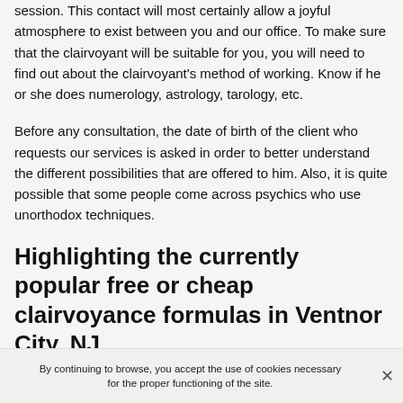session. This contact will most certainly allow a joyful atmosphere to exist between you and our office. To make sure that the clairvoyant will be suitable for you, you will need to find out about the clairvoyant's method of working. Know if he or she does numerology, astrology, tarology, etc.
Before any consultation, the date of birth of the client who requests our services is asked in order to better understand the different possibilities that are offered to him. Also, it is quite possible that some people come across psychics who use unorthodox techniques.
Highlighting the currently popular free or cheap clairvoyance formulas in Ventnor City, NJ
Nowadays, there is a recurgence of best psychics in
By continuing to browse, you accept the use of cookies necessary for the proper functioning of the site.